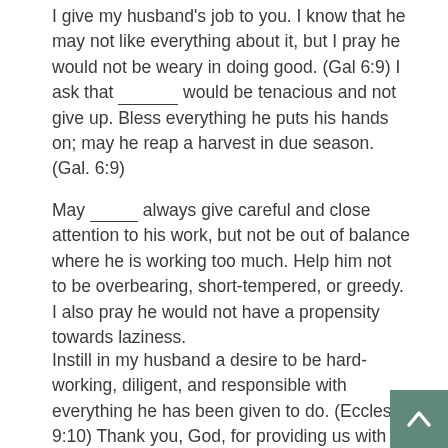I give my husband's job to you. I know that he may not like everything about it, but I pray he would not be weary in doing good. (Gal 6:9) I ask that _______ would be tenacious and not give up. Bless everything he puts his hands on; may he reap a harvest in due season. (Gal. 6:9)
May ______ always give careful and close attention to his work, but not be out of balance where he is working too much. Help him not to be overbearing, short-tempered, or greedy. I also pray he would not have a propensity towards laziness.
Instill in my husband a desire to be hard-working, diligent, and responsible with everything he has been given to do. (Eccles. 9:10) Thank you, God, for providing us with a stable income. If my husband is ever out of work, I pray you will quickly